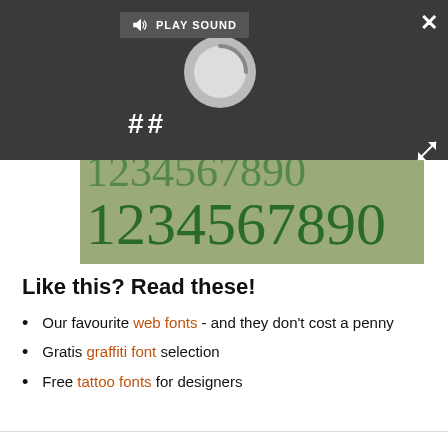[Figure (screenshot): Dark overlay bar with play sound button, loading spinner, pause button, close X button, and expand arrows. Below is a font sample strip on olive-green background showing '1234567890' in two rows in dark green serif font.]
Like this? Read these!
Our favourite web fonts - and they don't cost a penny
Gratis graffiti font selection
Free tattoo fonts for designers